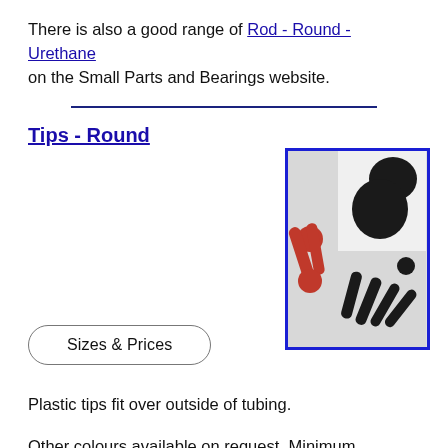There is also a good range of Rod - Round - Urethane on the Small Parts and Bearings website.
[Figure (photo): Photo of round plastic tips in red and black colours, various sizes scattered on a light background, with a blue border frame.]
Tips - Round
Sizes & Prices
Plastic tips fit over outside of tubing.
Other colours available on request. Minimum quantities